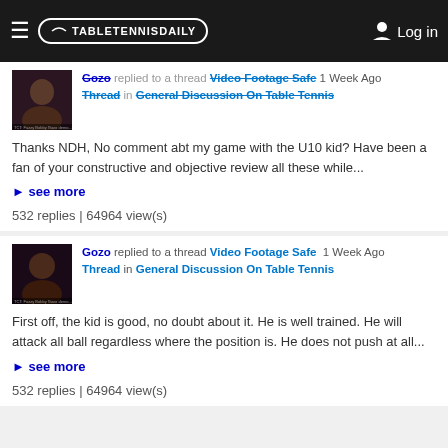TableTennisDaily | Log in
Gozo replied to a thread Video Footage Safe Thread in General Discussion On Table Tennis 1 Week Ago
Thanks NDH, No comment abt my game with the U10 kid? Have been a fan of your constructive and objective review all these while...
see more
532 replies | 64964 view(s)
Gozo replied to a thread Video Footage Safe Thread in General Discussion On Table Tennis 1 Week Ago
First off, the kid is good, no doubt about it. He is well trained. He will attack all ball regardless where the position is. He does not push at all...
see more
532 replies | 64964 view(s)